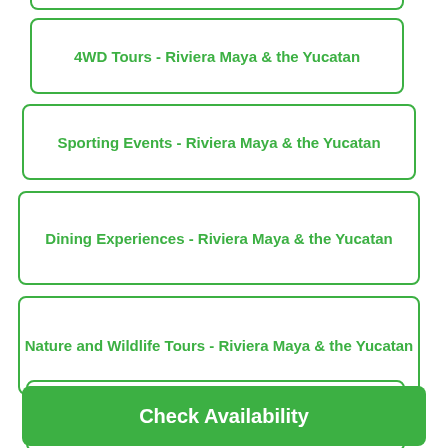4WD Tours - Riviera Maya & the Yucatan
Sporting Events - Riviera Maya & the Yucatan
Dining Experiences - Riviera Maya & the Yucatan
Nature and Wildlife Tours - Riviera Maya & the Yucatan
Extreme Sports - Riviera Maya & the Yucatan
Ports of Call Tours - Riviera Maya & the Yucatan
Check Availability